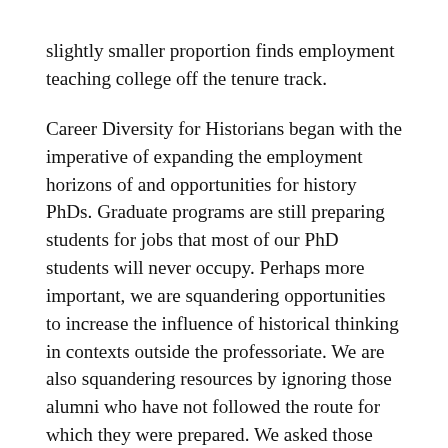slightly smaller proportion finds employment teaching college off the tenure track.

Career Diversity for Historians began with the imperative of expanding the employment horizons of and opportunities for history PhDs. Graduate programs are still preparing students for jobs that most of our PhD students will never occupy. Perhaps more important, we are squandering opportunities to increase the influence of historical thinking in contexts outside the professoriate. We are also squandering resources by ignoring those alumni who have not followed the route for which they were prepared. We asked those alumni—working in government, business, nonprofits, and higher education administration—what they wish they had learned, either to more easily find employment or to advance more quickly once hired. The responses fell into five broad categories: communication beyond the scholarly and classroom